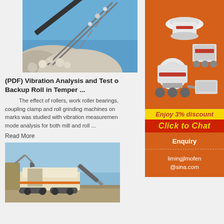[Figure (photo): Conveyor belt carrying crushed stone/rock aggregates against a blue sky background]
(PDF) Vibration Analysis and Test of Backup Roll in Temper ...
The effect of rollers, work roller bearings, coupling clamp and roll grinding machines on marks was studied with vibration measurements and mode analysis for both mill and roll ...
Read More
[Figure (photo): Large mobile crushing/screening machine on a construction or quarry site with an excavator nearby]
[Figure (photo): Advertisement showing multiple industrial crushing machines (cone crusher, jaw crusher, impact crusher, mill) against orange background with discount offer and contact information]
Enjoy 3% discount
Click to Chat
Enquiry
limingjlmofen@sina.com